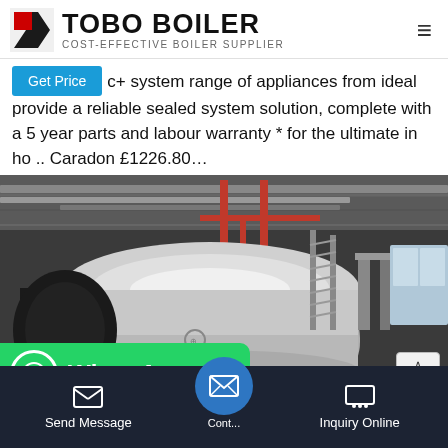TOBO BOILER — COST-EFFECTIVE BOILER SUPPLIER
c+ system range of appliances from ideal provide a reliable sealed system solution, complete with a 5 year parts and labour warranty * for the ultimate in ho .. Caradon £1226.80…
[Figure (photo): Industrial boiler room showing large cylindrical silver boiler tanks with red piping, metal staircases, and overhead pipework in a warehouse-style facility]
WhatsApp
Send Message
Inquiry Online